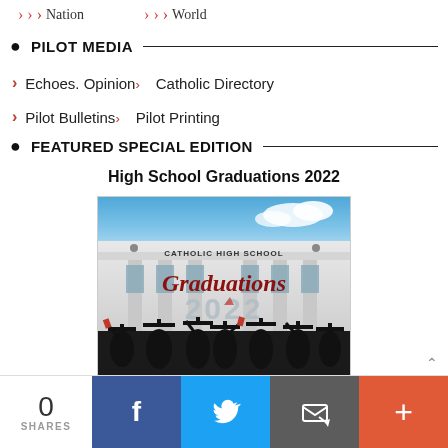› Nation   › World
● PILOT MEDIA
> Echoes. Opinion›  Catholic Directory
> Pilot Bulletins›  Pilot Printing
● FEATURED SPECIAL EDITION
High School Graduations 2022
[Figure (photo): Catholic High School Graduations 2022 cover image showing graduating students in caps and gowns raising their hands in front of a school building]
0 SHARES  [Facebook] [Twitter] [Email] [More]